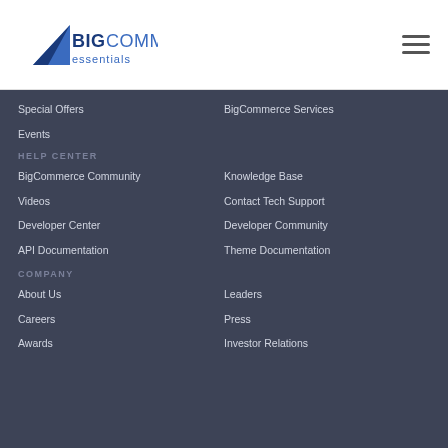[Figure (logo): BigCommerce Essentials logo with blue triangle and text]
Special Offers
BigCommerce Services
Events
HELP CENTER
BigCommerce Community
Knowledge Base
Videos
Contact Tech Support
Developer Center
Developer Community
API Documentation
Theme Documentation
COMPANY
About Us
Leaders
Careers
Press
Awards
Investor Relations